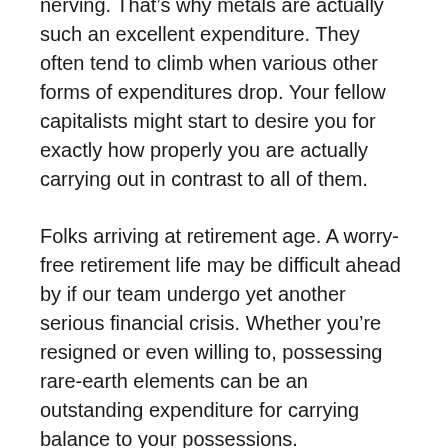exchange may be astonishingly un-nerving. That’s why metals are actually such an excellent expenditure. They often tend to climb when various other forms of expenditures drop. Your fellow capitalists might start to desire you for exactly how properly you are actually carrying out in contrast to all of them.
Folks arriving at retirement age. A worry-free retirement life may be difficult ahead by if our team undergo yet another serious financial crisis. Whether you’re resigned or even willing to, possessing rare-earth elements can be an outstanding expenditure for carrying balance to your possessions.
What Makes Them Unique?